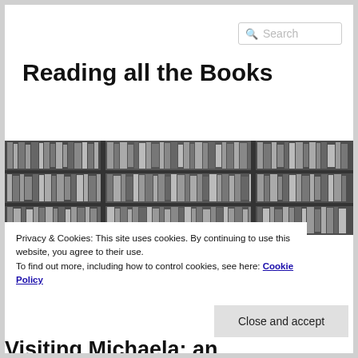Reading all the Books
[Figure (photo): Black and white photograph of a large bookshelf filled with many books arranged across three sections and multiple shelves.]
Privacy & Cookies: This site uses cookies. By continuing to use this website, you agree to their use.
To find out more, including how to control cookies, see here: Cookie Policy
Close and accept
Visiting Michaela: an